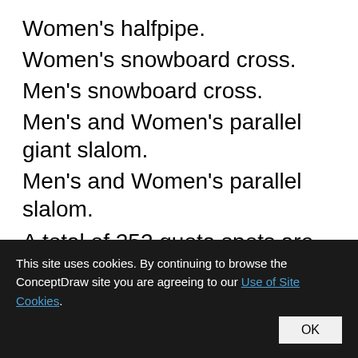Women's halfpipe.
Women's snowboard cross.
Men's snowboard cross.
Men's and Women's parallel giant slalom.
Men's and Women's parallel slalom.
A total of 252 quota spots are available to athletes to compete at the games. A maximum of 24 athletes can be entered by a National Olympic Committee, with a maximum of 14 men or 14 women. The five different events have different quota
This site uses cookies. By continuing to browse the ConceptDraw site you are agreeing to our Use of Site Cookies. OK